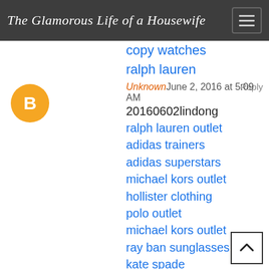The Glamorous Life of a Housewife
copy watches
ralph lauren
Reply
Unknown June 2, 2016 at 5:09 AM
20160602lindong
ralph lauren outlet
adidas trainers
adidas superstars
michael kors outlet
hollister clothing
polo outlet
michael kors outlet
ray ban sunglasses
kate spade
ray ban outlet
michael kors outlet
ralph lauren pas cher